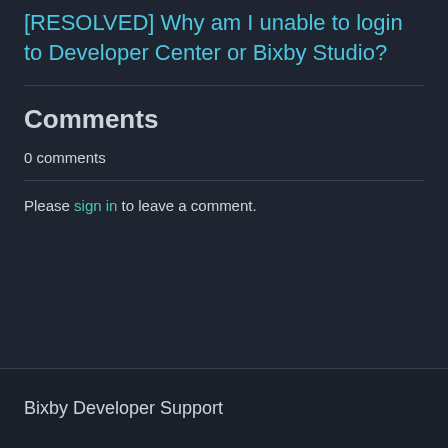[RESOLVED] Why am I unable to login to Developer Center or Bixby Studio?
Comments
0 comments
Please sign in to leave a comment.
Bixby Developer Support